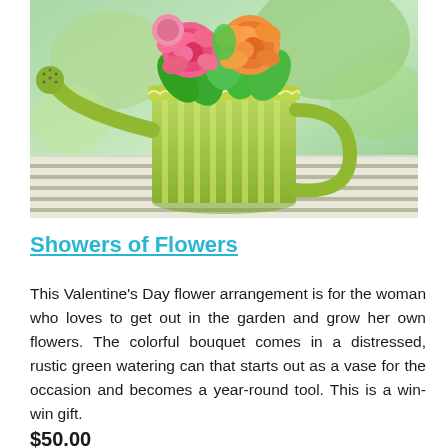[Figure (photo): A colorful flower arrangement of pink and orange roses in a distressed rustic green watering can, placed on a white slatted surface with a blurred green background.]
Showers of Flowers
This Valentine's Day flower arrangement is for the woman who loves to get out in the garden and grow her own flowers. The colorful bouquet comes in a distressed, rustic green watering can that starts out as a vase for the occasion and becomes a year-round tool. This is a win-win gift.
$50.00